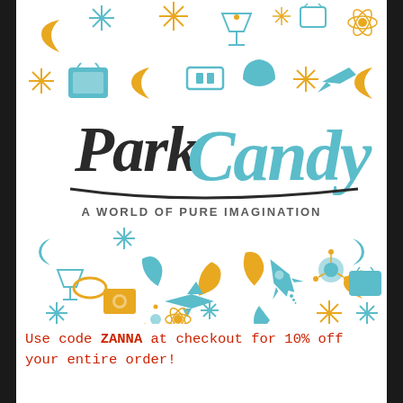[Figure (logo): Park Candy logo with retro mid-century modern illustrated icons (stars, rockets, martini glasses, atoms, moons, TVs, etc.) in teal/blue and gold/orange colors. Text reads 'Park Candy' in cursive script and 'A WORLD OF PURE IMAGINATION' below.]
Use code ZANNA at checkout for 10% off your entire order!